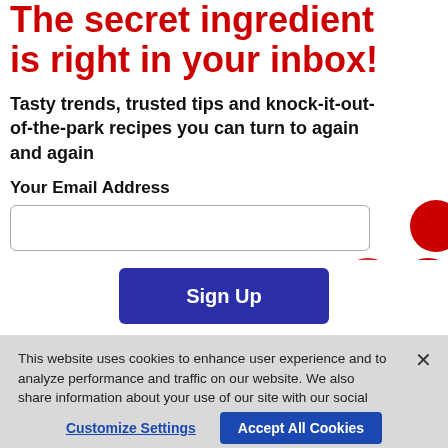The secret ingredient is right in your inbox!
Tasty trends, trusted tips and knock-it-out-of-the-park recipes you can turn to again and again
Your Email Address
Sign Up
This website uses cookies to enhance user experience and to analyze performance and traffic on our website. We also share information about your use of our site with our social media, advertising and analytics partners. Link to Cookie Policy
Customize Settings
Accept All Cookies